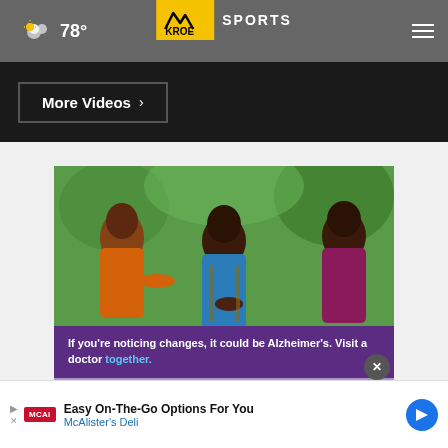☁ 78° | KRQE SPORTS
More Videos ›
[Figure (photo): Three women sitting outdoors in a garden setting, with an Alzheimer's awareness ad overlay reading: 'If you're noticing changes, it could be Alzheimer's. Visit a doctor together.']
Easy On-The-Go Options For You | McAlister's Deli